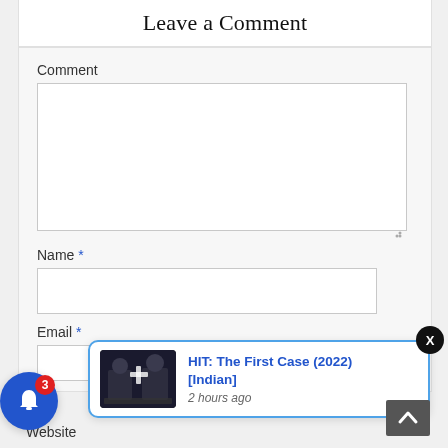Leave a Comment
Comment
Name *
Email *
Website
[Figure (screenshot): Notification popup showing 'HIT: The First Case (2022) [Indian]' with movie thumbnail, posted 2 hours ago, with a blue bell notification button showing badge count 3, and a close X button]
HIT: The First Case (2022) [Indian]
2 hours ago